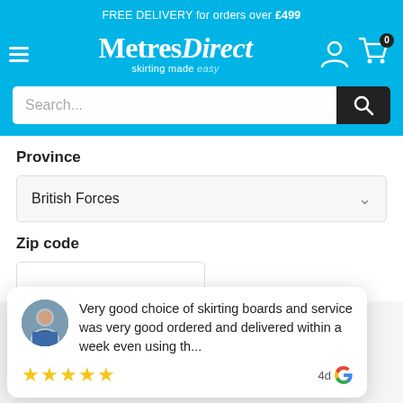FREE DELIVERY for orders over £499
[Figure (logo): Metres Direct logo with tagline 'skirting made easy' on blue background]
Search...
Province
British Forces
Zip code
Very good choice of skirting boards and service was very good ordered and delivered within a week even using th...
4d